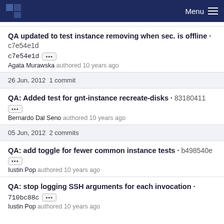Menu
QA updated to test instance removing when sec. is offline · c7e54e1d ··· Agata Murawska authored 10 years ago
26 Jun, 2012 1 commit
QA: Added test for gnt-instance recreate-disks · 83180411 ··· Bernardo Dal Seno authored 10 years ago
05 Jun, 2012 2 commits
QA: add toggle for fewer common instance tests · b498540e ··· Iustin Pop authored 10 years ago
QA: stop logging SSH arguments for each invocation · 710bc88c ··· Iustin Pop authored 10 years ago